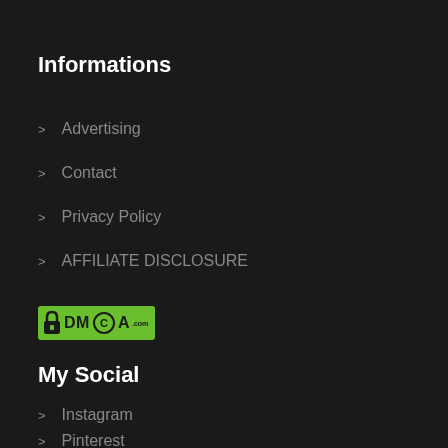Informations
> Advertising
> Contact
> Privacy Policy
> AFFILIATE DISCLOSURE
[Figure (logo): DMCA.com protection badge with green background, lock icon, and DMCA text with circled C]
My Social
> Instagram
> Pinterest